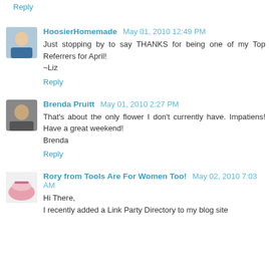Reply
HoosierHomemade  May 01, 2010 12:49 PM
Just stopping by to say THANKS for being one of my Top Referrers for April!
~Liz
Reply
Brenda Pruitt  May 01, 2010 2:27 PM
That's about the only flower I don't currently have. Impatiens! Have a great weekend!
Brenda
Reply
Rory from Tools Are For Women Too!  May 02, 2010 7:03 AM
Hi There,
I recently added a Link Party Directory to my blog site